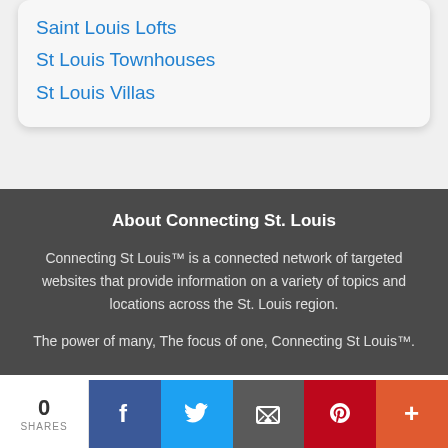Saint Louis Lofts
St Louis Townhouses
St Louis Villas
About Connecting St. Louis
Connecting St Louis™ is a connected network of targeted websites that provide information on a variety of topics and locations across the St. Louis region.
The power of many, The focus of one, Connecting St Louis™.
0 SHARES | Facebook | Twitter | Email | Pinterest | More